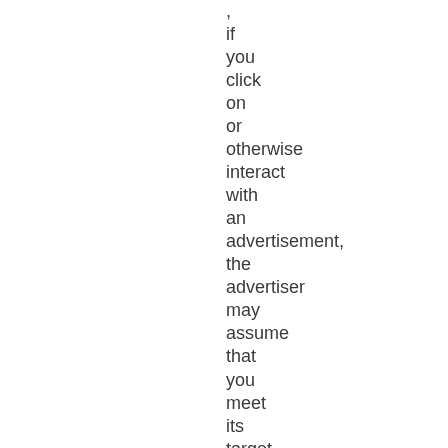, if you click on or otherwise interact with an advertisement, the advertiser may assume that you meet its target